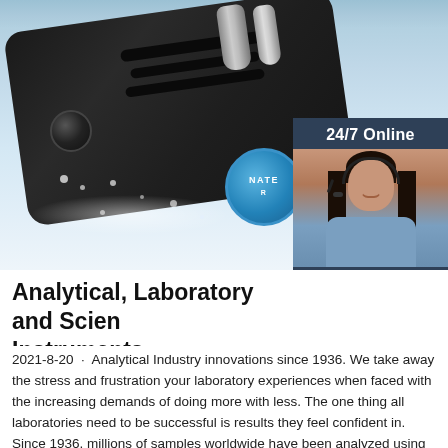[Figure (photo): A black electronic device/instrument submerged in water with splash effects, photographed against a light blue aquatic background. A customer service representative widget is overlaid on the right showing a woman with a headset, '24/7 Online' header, 'Click here for free chat!' text, and an orange 'QUOTATION' button. A blue circular badge is partially visible.]
Analytical, Laboratory and Scientific Instruments
2021-8-20 · Analytical Industry innovations since 1936. We take away the stress and frustration your laboratory experiences when faced with the increasing demands of doing more with less. The one thing all laboratories need to be successful is results they feel confident in. Since 1936, millions of samples worldwide have been analyzed using LECO ...